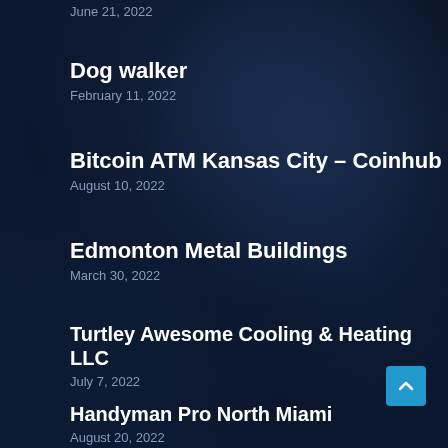June 21, 2022
Dog walker
February 11, 2022
Bitcoin ATM Kansas City – Coinhub
August 10, 2022
Edmonton Metal Buildings
March 30, 2022
Turtley Awesome Cooling & Heating LLC
July 7, 2022
Handyman Pro North Miami
August 20, 2022